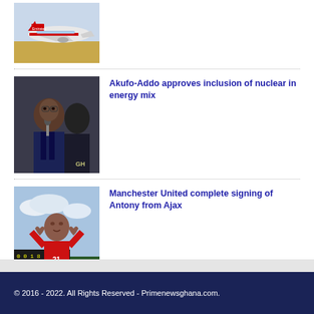[Figure (photo): Partial view of an Emirates airplane on the tarmac]
[Figure (photo): A man in a dark suit speaking at a podium]
Akufo-Addo approves inclusion of nuclear in energy mix
[Figure (photo): A soccer player in a red jersey making a heart gesture with hands]
Manchester United complete signing of Antony from Ajax
© 2016 - 2022. All Rights Reserved - Primenewsghana.com.